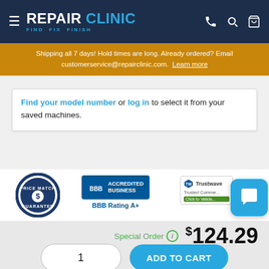REPAIR CLINIC — FIND. FIX. FINISH.
Shipping all 7 days! Hold times are long. Already ordered? Email customerservice@repairclinic.com. Learn more
Find your model number or log in to select it from your saved machines.
[Figure (logo): Price Match Guarantee circular badge with dollar sign]
[Figure (logo): BBB Accredited Business badge with BBB Rating A+]
[Figure (logo): Trustwave Trusted Commerce Click to Validate badge]
Special Order  $124.29
1
ADD TO CART